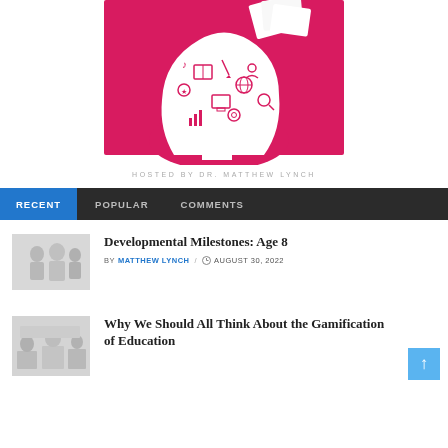[Figure (illustration): Pink silhouette of a child's head with education-related icons (books, globe, music notes, pencil, computer, etc.) inside the head on a pink background, with paper/book elements on top right]
HOSTED BY DR. MATTHEW LYNCH
RECENT  POPULAR  COMMENTS
[Figure (photo): Thumbnail photo showing children or students, grayscale/light color]
Developmental Milestones: Age 8
BY MATTHEW LYNCH / AUGUST 30, 2022
[Figure (photo): Thumbnail photo showing a classroom or educational setting, grayscale/light color]
Why We Should All Think About the Gamification of Education